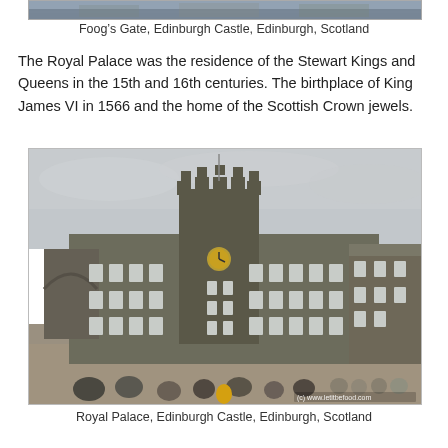[Figure (photo): Partial view of Foog's Gate at Edinburgh Castle, showing stone architecture and water/sky in background]
Foog’s Gate, Edinburgh Castle, Edinburgh, Scotland
The Royal Palace was the residence of the Stewart Kings and Queens in the 15th and 16th centuries. The birthplace of King James VI in 1566 and the home of the Scottish Crown jewels.
[Figure (photo): Royal Palace at Edinburgh Castle showing the stone tower with clock, castle buildings, courtyard with tourists gathered, overcast sky. Watermark: (c) www.letitbefood.com]
Royal Palace, Edinburgh Castle, Edinburgh, Scotland